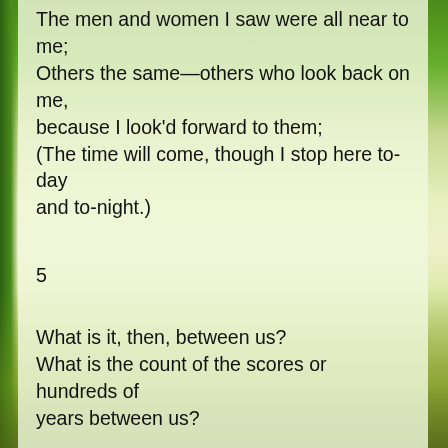The men and women I saw were all near to me;
Others the same—others who look back on me,
because I look'd forward to them;
(The time will come, though I stop here to-day
and to-night.)
5
What is it, then, between us?
What is the count of the scores or hundreds of
years between us?
Whatever it is, it avails not—distance avails not,
and place avails not.
6
I too lived—Brooklyn, of ample hills, was mine;